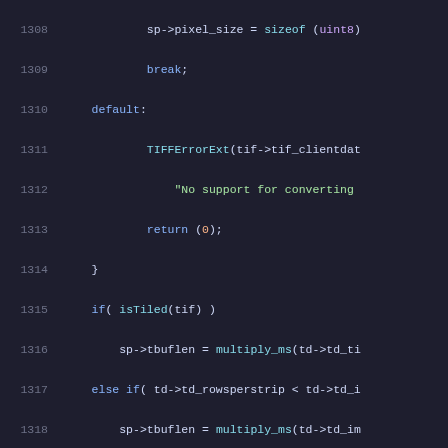[Figure (screenshot): Source code viewer showing C code lines 1308-1328, dark theme with syntax highlighting. Code includes pixel_size assignment, break, default case with TIFFErrorExt call, isTiled conditional, tbuflen assignments using multiply_ms, and return statements.]